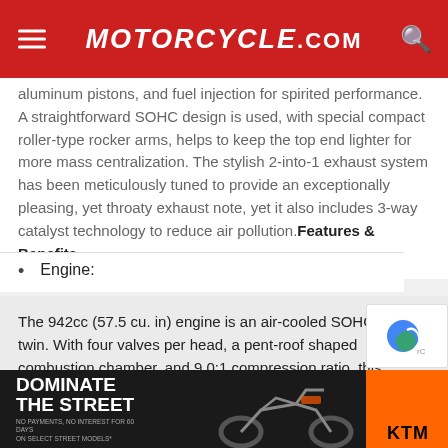Motorcycle.com
aluminum pistons, and fuel injection for spirited performance. A straightforward SOHC design is used, with special compact roller-type rocker arms, helps to keep the top end lighter for more mass centralization. The stylish 2-into-1 exhaust system has been meticulously tuned to provide an exceptionally pleasing, yet throaty exhaust note, yet it also includes 3-way catalyst technology to reduce air pollution. Features & Benefits
Engine:
The 942cc (57.5 cu. in) engine is an air-cooled SOHC 60 V twin. With four valves per head, a pent-roof shaped combustion chamber, and 9.0:1 compression ratio, this engine has been carefully designed to produce excellent power characteristics and best-in-class acceleration
[Figure (photo): KTM motorcycle advertisement: DOMINATE THE STREET — NO PAYMENTS, NO INTEREST FOR 60 DAYS ON SELECT STREET MODELS]